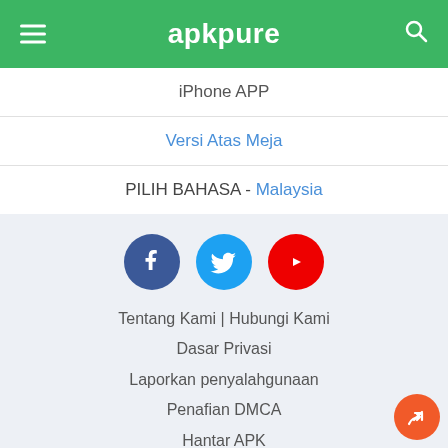apkpure
iPhone APP
Versi Atas Meja
PILIH BAHASA - Malaysia
[Figure (illustration): Social media icons: Facebook (blue circle), Twitter (cyan circle), YouTube (red circle)]
Tentang Kami | Hubungi Kami
Dasar Privasi
Laporkan penyalahgunaan
Penafian DMCA
Hantar APK
Konsol Pembangun
APKPure.com © 2014-2022